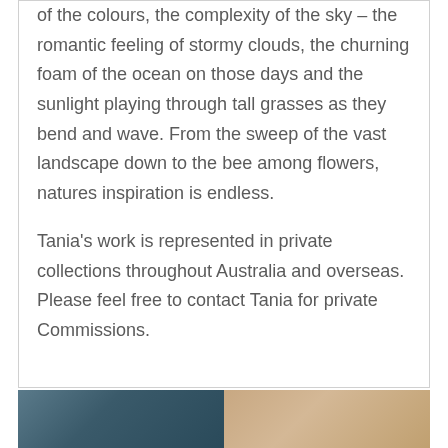of the colours, the complexity of the sky – the romantic feeling of stormy clouds, the churning foam of the ocean on those days and the sunlight playing through tall grasses as they bend and wave. From the sweep of the vast landscape down to the bee among flowers, natures inspiration is endless.

Tania's work is represented in private collections throughout Australia and overseas.
Please feel free to contact Tania for private Commissions.
[Figure (photo): Bottom strip showing two photographs side by side — left appears to be a nature/landscape photo in blue-grey tones, right appears to be a portrait photo in warm tones]